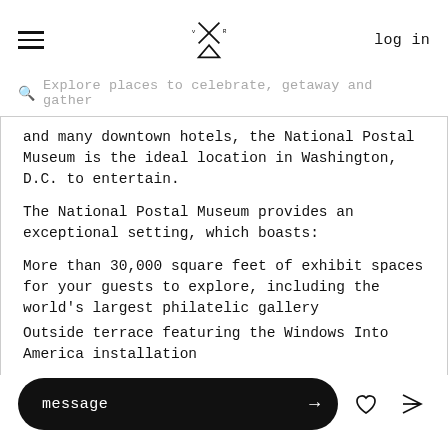log in
Explore places to celebrate, getaway and gather
and many downtown hotels, the National Postal Museum is the ideal location in Washington, D.C. to entertain.
The National Postal Museum provides an exceptional setting, which boasts:
More than 30,000 square feet of exhibit spaces for your guests to explore, including the world's largest philatelic gallery
Outside terrace featuring the Windows Into America installation
message